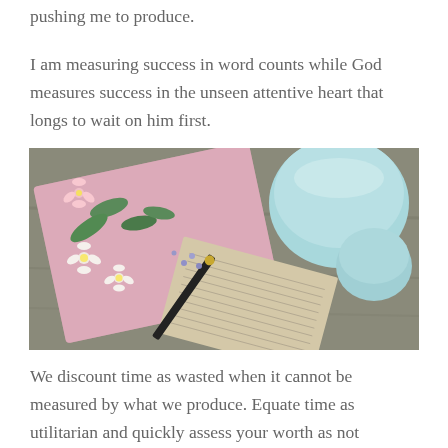pushing me to produce.
I am measuring success in word counts while God measures success in the unseen attentive heart that longs to wait on him first.
[Figure (photo): Flatlay photograph showing pink notebook/journal, white and pink flowers, blue/purple small flowers, a black pen with gold tip, a light blue ceramic teapot or pitcher, a small light blue ceramic cup, all arranged on what appears to be a wooden surface.]
We discount time as wasted when it cannot be measured by what we produce. Equate time as utilitarian and quickly assess your worth as not